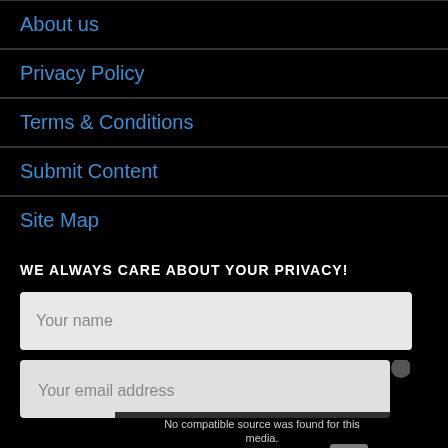About us
Privacy Policy
Terms & Conditions
Submit Content
Site Map
WE ALWAYS CARE ABOUT YOUR PRIVACY!
Your name
Your email address
[Figure (screenshot): Video overlay showing 'No compatible source was found for this media.' message over a video panel about SECTIONS IN CREO 3.0 tutorials by SUNDAR DANNANA, with a close X button]